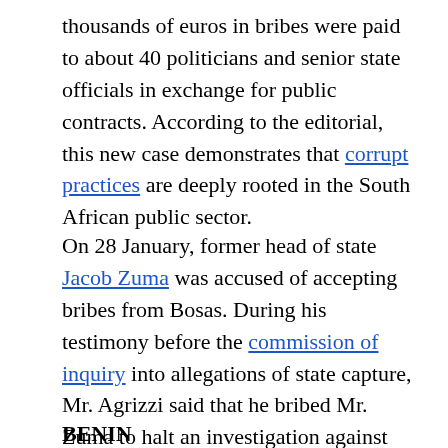thousands of euros in bribes were paid to about 40 politicians and senior state officials in exchange for public contracts. According to the editorial, this new case demonstrates that corrupt practices are deeply rooted in the South African public sector.
On 28 January, former head of state Jacob Zuma was accused of accepting bribes from Bosas. During his testimony before the commission of inquiry into allegations of state capture, Mr. Agrizzi said that he bribed Mr. Zuma to halt an investigation against his company.
BENIN